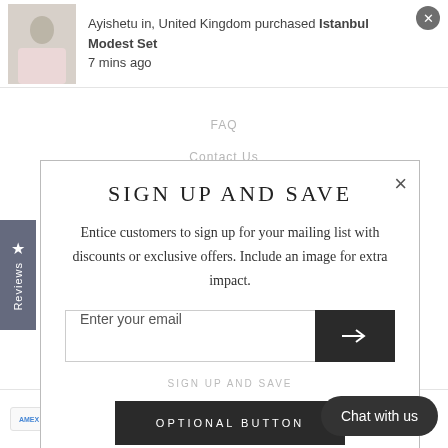Ayishetu in, United Kingdom purchased Istanbul Modest Set
7 mins ago
FAQ
Contact Us
Covid-19-response
Refund policy
Reviews
SIGN UP AND SAVE
Entice customers to sign up for your mailing list with discounts or exclusive offers. Include an image for extra impact.
Enter your email
SIGN UP AND SAVE
OPTIONAL BUTTON
ANNAH HARIRI
Chat with us